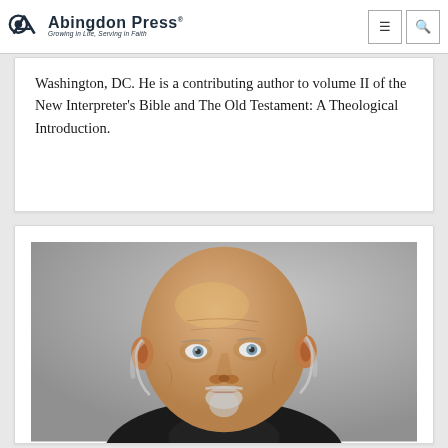Abingdon Press — Growing in Life, Serving in Faith
Washington, DC. He is a contributing author to volume II of the New Interpreter's Bible and The Old Testament: A Theological Introduction.
[Figure (photo): Portrait photograph of an older bald man with a white goatee, wearing a dark jacket, photographed against a gray background.]